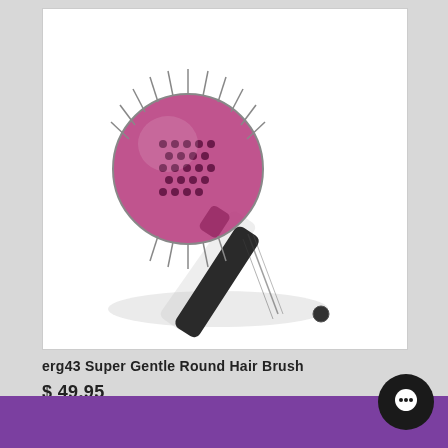[Figure (photo): A round hair brush with purple and silver barrel with metal pins and a black textured handle, photographed at an angle on a white background with shadow.]
erg43 Super Gentle Round Hair Brush
$ 49.95